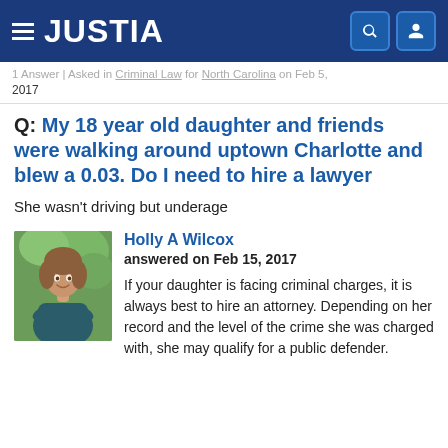JUSTIA
1 Answer | Asked in Criminal Law for North Carolina on Feb 5, 2017
Q: My 18 year old daughter and friends were walking around uptown Charlotte and blew a 0.03. Do I need to hire a lawyer
She wasn't driving but underage
Holly A Wilcox
answered on Feb 15, 2017

If your daughter is facing criminal charges, it is always best to hire an attorney. Depending on her record and the level of the crime she was charged with, she may qualify for a public defender.